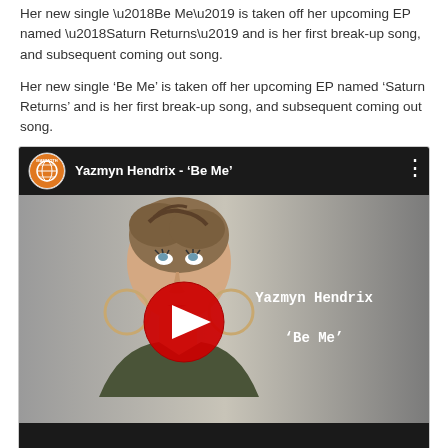Her new single ‘Be Me’ is taken off her upcoming EP named ‘Saturn Returns’ and is her first break-up song, and subsequent coming out song.
[Figure (screenshot): YouTube video embed showing Yazmyn Hendrix - 'Be Me' with channel logo, video title bar, thumbnail of a woman with upswept hair looking upward with a large red YouTube play button overlay, and artist name 'Yazmyn Hendrix' and 'Be Me' text on the right side of the thumbnail.]
Sounds like: Alicia Keys, Aurora
Facebook | Twitter | SoundCloud | Instagram